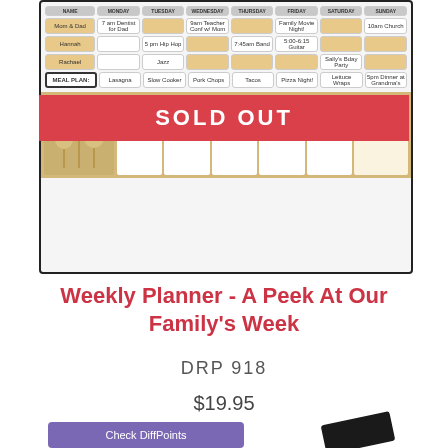[Figure (photo): Weekly planner board showing a family schedule grid with colored cells (tan/beige highlights), rows for family members (Mom & Dad, Hannah, Rachael), meal plan row, and a bottom section with floral design and contact info. A red 'SOLD OUT' banner overlays the middle of the image.]
Weekly Planner - A Peek At Our Family's Week
DRP 918
$19.95
Check DiffPoints